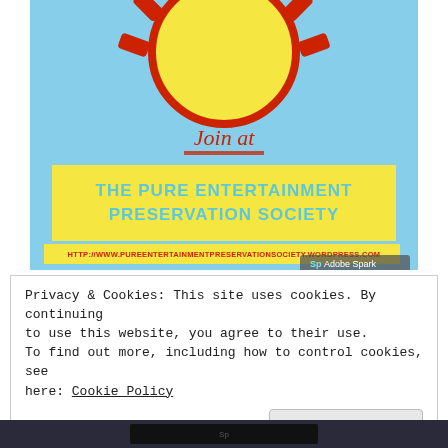[Figure (illustration): Sun partially visible at top of a light blue background with red sun rays. Below the sun, italic red underlined text reads 'Join at'. A yellow ribbon banner contains bold teal text 'THE PURE ENTERTAINMENT PRESERVATION SOCIETY'. Below that a yellow bar contains red bold URL text: HTTP://WWW.PUREENTERTAINMENTPRESERVATIONSOCIETY.WORDPRESS.COM. Adobe Spark watermark in bottom right corner.]
Privacy & Cookies: This site uses cookies. By continuing to use this website, you agree to their use.
To find out more, including how to control cookies, see here: Cookie Policy
Close and accept
[Figure (photo): Dark strip at bottom, partial image of a screen or media content.]